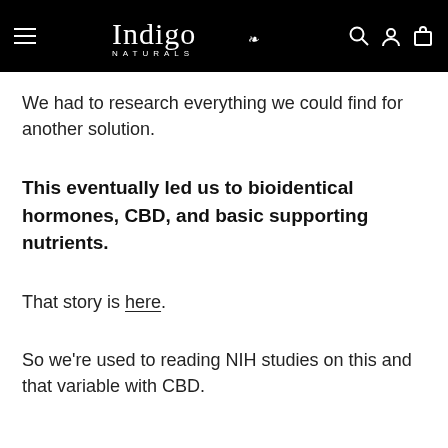Indigo Naturals
We had to research everything we could find for another solution.
This eventually led us to bioidentical hormones, CBD, and basic supporting nutrients.
That story is here.
So we're used to reading NIH studies on this and that variable with CBD.